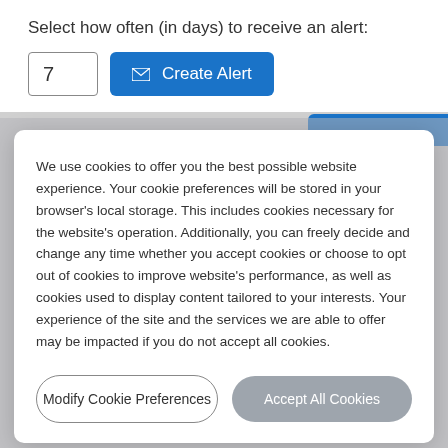Select how often (in days) to receive an alert:
[Figure (screenshot): Input field showing '7' and a blue 'Create Alert' button with envelope icon]
We use cookies to offer you the best possible website experience. Your cookie preferences will be stored in your browser's local storage. This includes cookies necessary for the website's operation. Additionally, you can freely decide and change any time whether you accept cookies or choose to opt out of cookies to improve website's performance, as well as cookies used to display content tailored to your interests. Your experience of the site and the services we are able to offer may be impacted if you do not accept all cookies.
Modify Cookie Preferences
Accept All Cookies